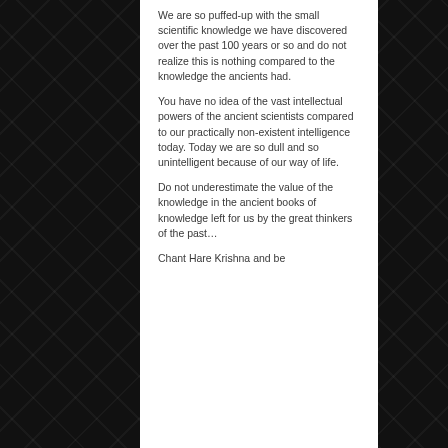We are so puffed-up with the small scientific knowledge we have discovered over the past 100 years or so and do not realize this is nothing compared to the knowledge the ancients had.
You have no idea of the vast intellectual powers of the ancient scientists compared to our practically non-existent intelligence today. Today we are so dull and so unintelligent because of our way of life.
Do not underestimate the value of the knowledge in the ancient books of knowledge left for us by the great thinkers of the past…
Chant Hare Krishna and be